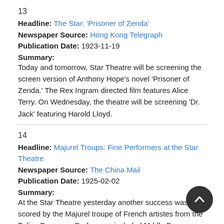13
Headline: The Star: 'Prisoner of Zenda'
Newspaper Source: Hong Kong Telegraph
Publication Date: 1923-11-19
Summary:
Today and tomorrow, Star Theatre will be screening the screen version of Anthony Hope's novel 'Prisoner of Zenda.' The Rex Ingram directed film features Alice Terry. On Wednesday, the theatre will be screening 'Dr. Jack' featuring Harold Lloyd.
14
Headline: Majurel Troups: Fine Performers at the Star Theatre
Newspaper Source: The China Mail
Publication Date: 1925-02-02
Summary:
At the Star Theatre yesterday another success was scored by the Majurel troupe of French artistes from the Folies Bergeres. Performers included Mddle Demay, Sergine and Ludo, Dugard. Booth Tarkington's dynamic society drama 'The Turmoil' will … at 6 p.m. Tarkington's…